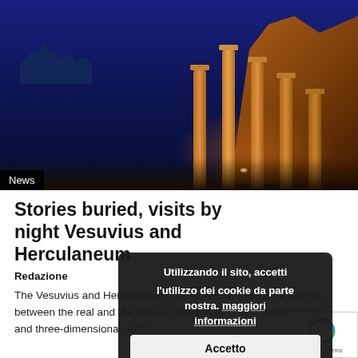[Figure (photo): Night photo of ancient Roman ruins (Pompeii/Herculaneum) with illuminated columns against a deep blue night sky. Orange and amber lights illuminate the columns and ruins on the right side. A small cityscape silhouette is visible on the left.]
News
Stories buried, visits by night Vesuvius and Herculaneum
Redazione
The Vesuvius and Herculaneum illuminated at night for a journey between the real and the virtual, between theatrical performances and three-dimensional reconstructions of the eruption...
Utilizzando il sito, accetti l'utilizzo dei cookie da parte nostra. maggiori informazioni
Accetto